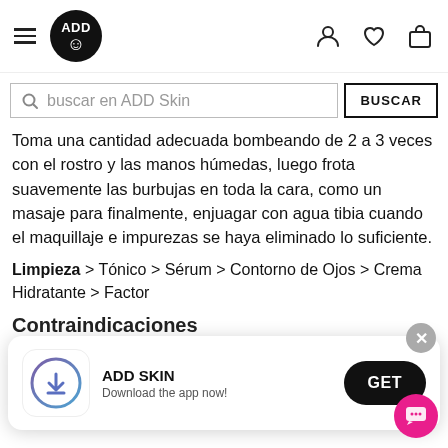ADD (logo) — navigation bar with hamburger menu, logo, user icon, heart icon, bag icon
buscar en ADD Skin (search bar) BUSCAR (button)
Toma una cantidad adecuada bombeando de 2 a 3 veces con el rostro y las manos húmedas, luego frota suavemente las burbujas en toda la cara, como un masaje para finalmente, enjuagar con agua tibia cuando el maquillaje e impurezas se haya eliminado lo suficiente.
Limpieza > Tónico > Sérum > Contorno de Ojos > Crema Hidratante > Factor
Contraindicaciones
En
[Figure (screenshot): App install banner: ADD SKIN app icon (blue circle with App Store arrow), text 'ADD SKIN' and 'Download the app now!', black GET button, grey X close button]